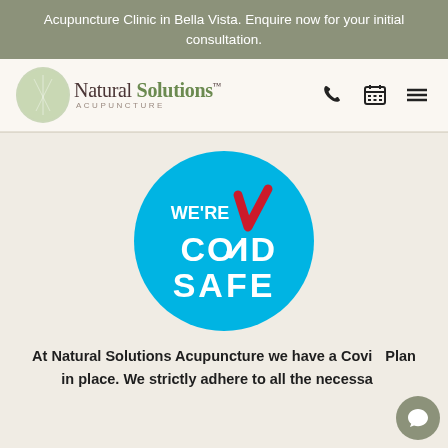Acupuncture Clinic in Bella Vista. Enquire now for your initial consultation.
[Figure (logo): Natural Solutions Acupuncture logo with green circle and text]
[Figure (infographic): We're COVID Safe blue circular badge with red checkmark]
At Natural Solutions Acupuncture we have a Covid Plan in place. We strictly adhere to all the necessary